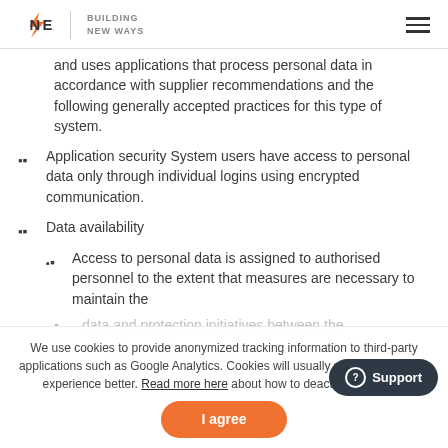NEXT | BUILDING NEW WAYS
and uses applications that process personal data in accordance with supplier recommendations and the following generally accepted practices for this type of system.
Application security System users have access to personal data only through individual logins using encrypted communication.
Data availability
Access to personal data is assigned to authorised personnel to the extent that measures are necessary to maintain the
We use cookies to provide anonymized tracking information to third-party applications such as Google Analytics. Cookies will usually make your surfing experience better. Read more here about how to deactivate cookies.
I agree